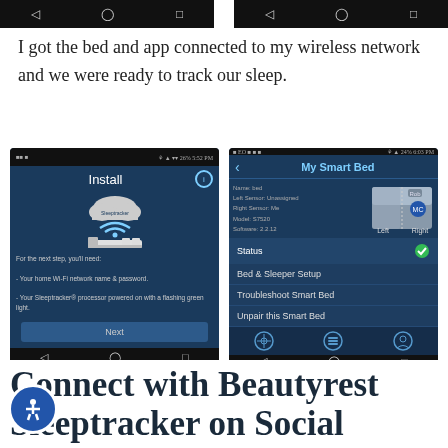[Figure (screenshot): Two Android phone navigation bars (black) showing back, home, and recents icons at the top of the page]
I got the bed and app connected to my wireless network and we were ready to track our sleep.
[Figure (screenshot): Left screenshot: Android phone showing a Sleeptracker app 'Install' screen with cloud and wifi icons above a bed, and text 'For the next step, you'll need: - Your home Wi-Fi network name & password. - Your Sleeptracker® processor powered on with a flashing green light.' with a Next button. Right screenshot: Android phone showing 'My Smart Bed' screen with Name: bed, Left Sensor: Unassigned, Right Sensor: Me, Model: S7520, Software: 2.2.12, a bed graphic with Left and Right labels, Status with green checkmark, Bed & Sleeper Setup, Troubleshoot Smart Bed, Unpair this Smart Bed menu items, and bottom navigation icons.]
Connect with Beautyrest Sleeptracker on Social